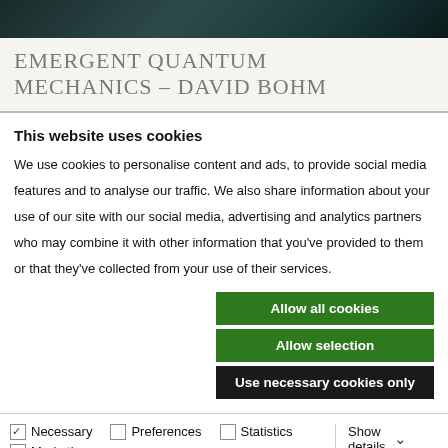[Figure (photo): Dark teal/green abstract or nature image used as website header banner]
EMERGENT QUANTUM MECHANICS – DAVID BOHM
This website uses cookies
We use cookies to personalise content and ads, to provide social media features and to analyse our traffic. We also share information about your use of our site with our social media, advertising and analytics partners who may combine it with other information that you've provided to them or that they've collected from your use of their services.
Allow all cookies
Allow selection
Use necessary cookies only
Necessary  Preferences  Statistics  Marketing  Show details